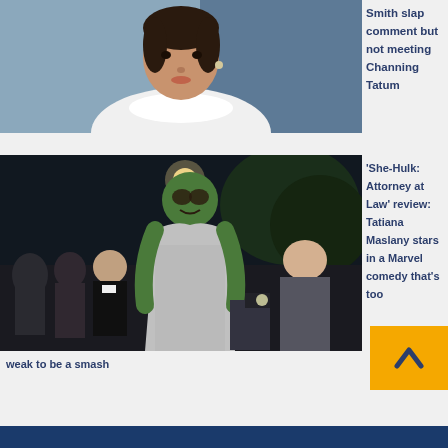[Figure (photo): Woman in white turtleneck at formal event, cropped portrait]
Smith slap comment but not meeting Channing Tatum
[Figure (photo): She-Hulk character in silver gown on red carpet with crowd in background]
'She-Hulk: Attorney at Law' review: Tatiana Maslany stars in a Marvel comedy that's too weak to be a smash